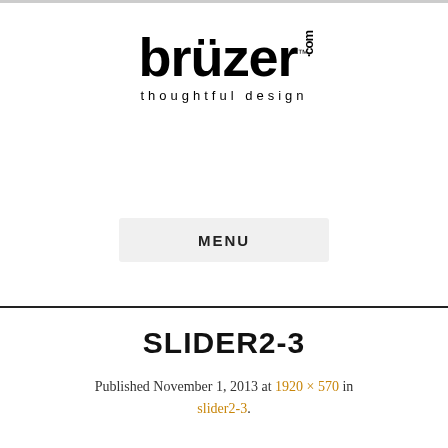[Figure (logo): brüzer.com thoughtful design logo — large bold black serif/sans wordmark with umlaut over the u, TM mark, .com stacked vertically, and tagline 'thoughtful design' in spaced sans-serif below]
MENU
SLIDER2-3
Published November 1, 2013 at 1920 × 570 in slider2-3.